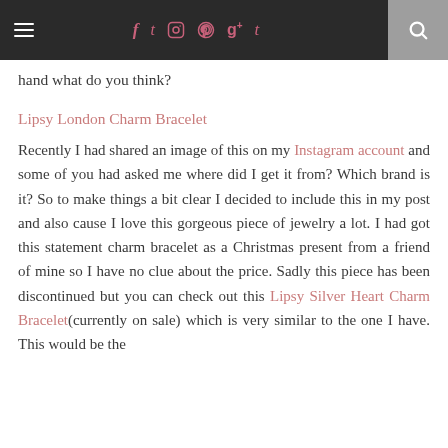≡  f  t  Instagram  Pinterest  g+  t  🔍
hand what do you think?
Lipsy London Charm Bracelet
Recently I had shared an image of this on my Instagram account and some of you had asked me where did I get it from? Which brand is it? So to make things a bit clear I decided to include this in my post and also cause I love this gorgeous piece of jewelry a lot. I had got this statement charm bracelet as a Christmas present from a friend of mine so I have no clue about the price. Sadly this piece has been discontinued but you can check out this Lipsy Silver Heart Charm Bracelet (currently on sale) which is very similar to the one I have. This would be the